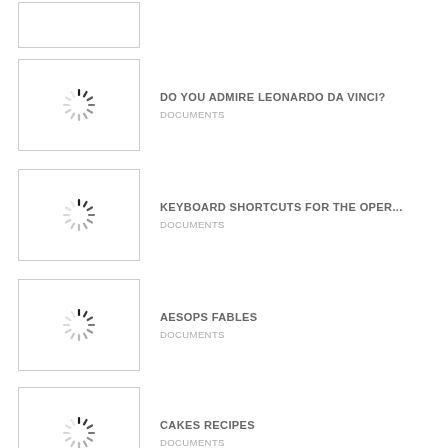(partial item at top)
DO YOU ADMIRE LEONARDO DA VINCI? | DOCUMENTS
KEYBOARD SHORTCUTS FOR THE OPER... | DOCUMENTS
AESOPS FABLES | DOCUMENTS
CAKES RECIPES | DOCUMENTS
JAN VAN EYCK AND THE MAN IN A RED T... | DOCUMENTS